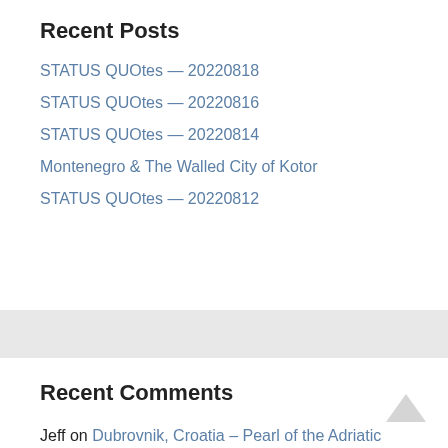Recent Posts
STATUS QUOtes — 20220818
STATUS QUOtes — 20220816
STATUS QUOtes — 20220814
Montenegro & The Walled City of Kotor
STATUS QUOtes — 20220812
Recent Comments
Jeff on Dubrovnik, Croatia – Pearl of the Adriatic
Gabby on Dubrovnik, Croatia – Pearl of the